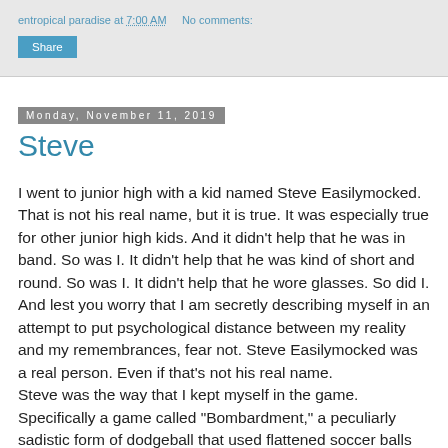entropical paradise at 7:00 AM   No comments:
Share
Monday, November 11, 2019
Steve
I went to junior high with a kid named Steve Easilymocked. That is not his real name, but it is true. It was especially true for other junior high kids. And it didn't help that he was in band. So was I. It didn't help that he was kind of short and round. So was I. It didn't help that he wore glasses. So did I. And lest you worry that I am secretly describing myself in an attempt to put psychological distance between my reality and my remembrances, fear not. Steve Easilymocked was a real person. Even if that's not his real name.
Steve was the way that I kept myself in the game.
Specifically a game called "Bombardment," a peculiarly sadistic form of dodgeball that used flattened soccer balls as projectiles and the preternaturally aggressive instincts of adolescent boys to terrorize the short round, glasses-wearing